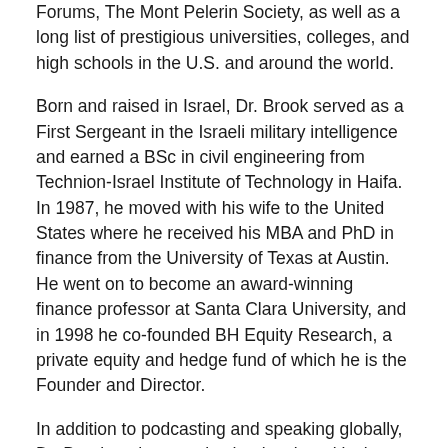Forums, The Mont Pelerin Society, as well as a long list of prestigious universities, colleges, and high schools in the U.S. and around the world.
Born and raised in Israel, Dr. Brook served as a First Sergeant in the Israeli military intelligence and earned a BSc in civil engineering from Technion-Israel Institute of Technology in Haifa. In 1987, he moved with his wife to the United States where he received his MBA and PhD in finance from the University of Texas at Austin. He went on to become an award-winning finance professor at Santa Clara University, and in 1998 he co-founded BH Equity Research, a private equity and hedge fund of which he is the Founder and Director.
In addition to podcasting and speaking globally, Dr. Brook authors works that inspire critical thinking. His most recent book, In Pursuit of Wealth: The Moral Case for Finance, makes the case that few industries are more vital to our prosperity – and more maligned – than the financial